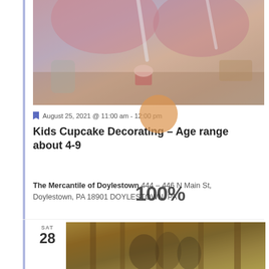[Figure (photo): People in pink outfits decorating cupcakes at a table with colorful sprinkles and frosting tools]
August 25, 2021 @ 11:00 am - 12:00 pm
Kids Cupcake Decorating – Age range about 4-9
The Mercantile of Doylestown 444 – 446 N Main St, Doylestown, PA 18901 DOYLESTOWN, PA
100%
SAT
28
[Figure (photo): Group of people smiling in an autumn forest setting]